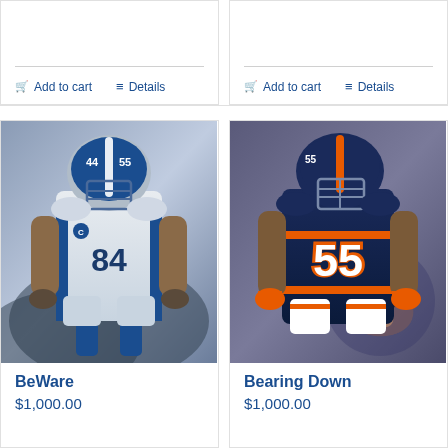Add to cart | Details (top-left card, partial)
Add to cart | Details (top-right card, partial)
[Figure (photo): Dallas Cowboys football player in white uniform with number 84, wearing blue helmet, leaning forward in game stance. Product titled BeWare.]
BeWare
$1,000.00
[Figure (photo): Chicago Bears football player wearing navy blue jersey with number 55 and orange accents, in action pose. Product titled Bearing Down.]
Bearing Down
$1,000.00